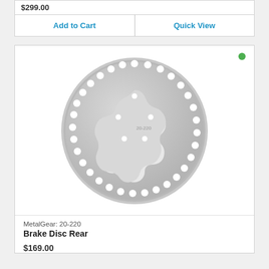$299.00
| Add to Cart | Quick View |
| --- | --- |
[Figure (photo): Circular motorcycle/ATV brake disc rotor, metallic silver, with multiple drilled holes around the perimeter and a scalloped inner hub cutout with mounting holes. A green availability dot is shown in the top-right corner of the product card.]
MetalGear: 20-220
Brake Disc Rear
$169.00